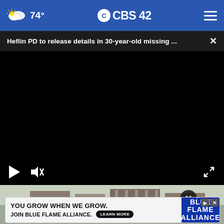74° CBS42
Heflin PD to release details in 30-year-old missing ...
[Figure (screenshot): Video player showing black screen (video paused or not loaded), with play button, mute button, and fullscreen button controls visible at the bottom.]
[Figure (screenshot): Thumbnail strip showing a still image of a building exterior scene, with a large play button overlay and a close button (X) on the right side.]
[Figure (other): Advertisement banner: YOU GROW WHEN WE GROW. JOIN BLUE FLAME ALLIANCE. with LEARN MORE button and Blue Flame Alliance logo.]